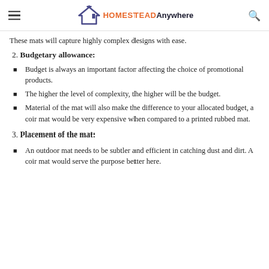HOMESTEAD Anywhere
These mats will capture highly complex designs with ease.
2. Budgetary allowance:
Budget is always an important factor affecting the choice of promotional products.
The higher the level of complexity, the higher will be the budget.
Material of the mat will also make the difference to your allocated budget, a coir mat would be very expensive when compared to a printed rubbed mat.
3. Placement of the mat:
An outdoor mat needs to be subtler and efficient in catching dust and dirt. A coir mat would serve the purpose better here.